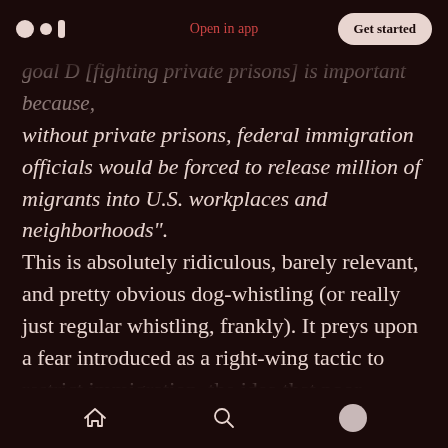Open in app | Get started
goal D [fighting private prisons] is important because, without private prisons, federal immigration officials would be forced to release million of migrants into U.S. workplaces and neighborhoods". This is absolutely ridiculous, barely relevant, and pretty obvious dog-whistling (or really just regular whistling, frankly). It preys upon a fear introduced as a right-wing tactic to restrict immigration, the idea that poor migrants are flooding over the border and taking jobs, ruining the economy, committing crimes etc. In any case, the article doesn't really provide any information to back up their actual claims. They cast doubt
Home Search Profile